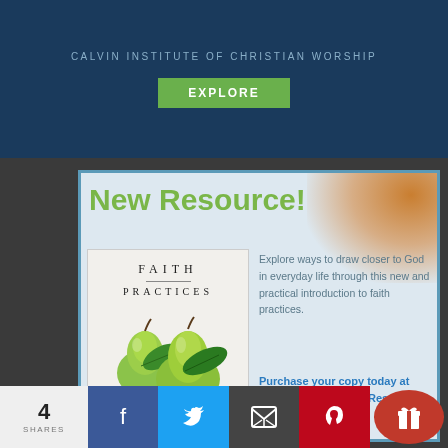CALVIN INSTITUTE OF CHRISTIAN WORSHIP
[Figure (other): Green EXPLORE button on dark blue background]
New Resource!
[Figure (other): Book cover for Faith Practices showing two green pears with leaves. Subtitle text: Holy Habits That Help Us Love God and Our Neighbor, Listen to the Spirit]
Explore ways to draw closer to God in everyday life through this new and practical introduction to faith practices.
Purchase your copy today at Faith Alive Christian Resources!
faithaliveresources.org
4
SHARES